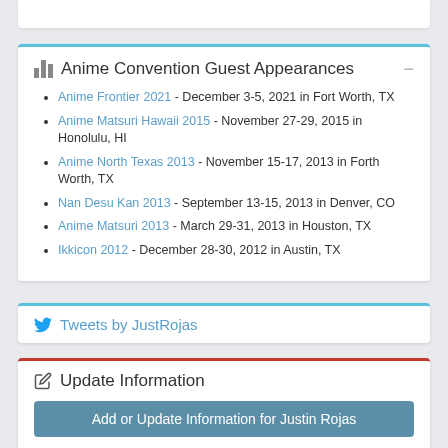Anime Convention Guest Appearances
Anime Frontier 2021 - December 3-5, 2021 in Fort Worth, TX
Anime Matsuri Hawaii 2015 - November 27-29, 2015 in Honolulu, HI
Anime North Texas 2013 - November 15-17, 2013 in Forth Worth, TX
Nan Desu Kan 2013 - September 13-15, 2013 in Denver, CO
Anime Matsuri 2013 - March 29-31, 2013 in Houston, TX
Ikkicon 2012 - December 28-30, 2012 in Austin, TX
Tweets by JustRojas
Update Information
Add or Update Information for Justin Rojas
If you use information from this page, a link to AnimeCons.com would be very much appreciated.